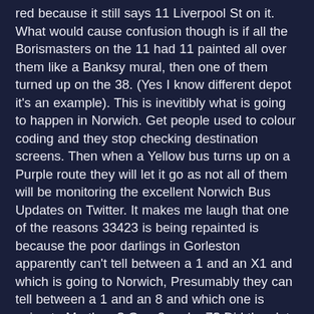red because it still says 11 Liverpool St on it. What would cause confusion though is if all the Borismasters on the 11 had 11 painted all over them like a Banksy mural, then one of them turned up on the 38. (Yes I know different depot it's an example). This is inevitibly what is going to happen in Norwich. Get people used to colour coding and they stop checking destination screens. Then when a Yellow bus turns up on a Purple route they will let it go as not all of them will be monitoring the excellent Norwich Bus Updates on Twitter. It makes me laugh that one of the reasons 33423 is being repainted is because the poor darlings in Gorleston apparently can't tell between a 1 and an X1 and which is going to Norwich, Presumably they can tell between a 1 and an 8 and which one is going to Martham? Or a 2 and a 7? Did they let the Barbie liveried Gemini B7's go by when they were on the X1 because they weren't white like the Excels? No they didn't as they read the destination screens. Of course they are used to blue buses now and have got lazy. That is what happens. Of course it would help if the X1's actually said Norwich on their screens at Gorleston. Ok rant over. Just don't insult the intelligence of passengers when there is a perfectly good tried and trusted way of seeing